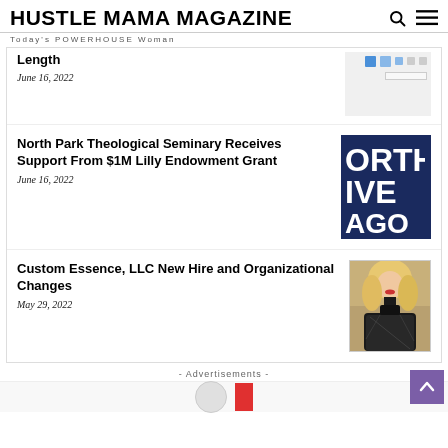HUSTLE MAMA MAGAZINE
Today's POWERHOUSE Woman
Length
June 16, 2022
North Park Theological Seminary Receives Support From $1M Lilly Endowment Grant
June 16, 2022
Custom Essence, LLC New Hire and Organizational Changes
May 29, 2022
- Advertisements -